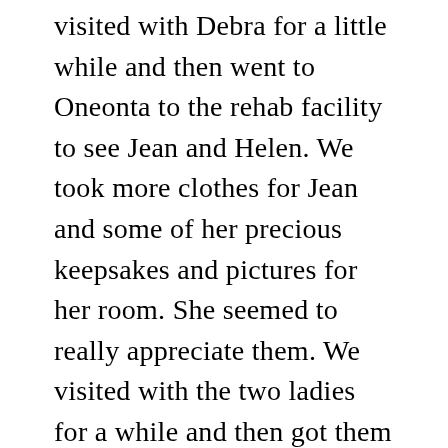visited with Debra for a little while and then went to Oneonta to the rehab facility to see Jean and Helen. We took more clothes for Jean and some of her precious keepsakes and pictures for her room. She seemed to really appreciate them. We visited with the two ladies for a while and then got them down to the dining hall for lunch. After lunch the four of us visited in Helen’s room and a little later Marsha came and visited with us too. Jean went to play bingo and later they both went to gospel singing in the dining room. The ladies didn’t enjoy the music as much today but by then Randy and Debra and Michelle joined us. We all sat outside and visited in the nice courtyard. Beautiful spring afternoon. Too soon Marsha had to leave for Chattanooga. Not sure when